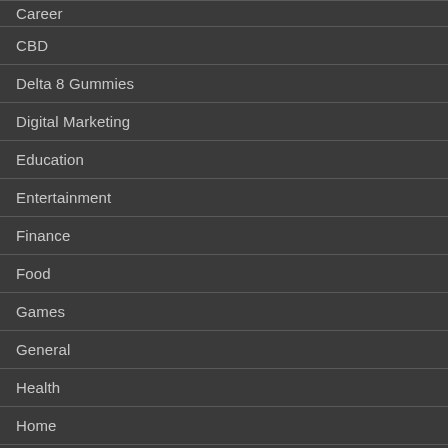Career
CBD
Delta 8 Gummies
Digital Marketing
Education
Entertainment
Finance
Food
Games
General
Health
Home
Home Improvement